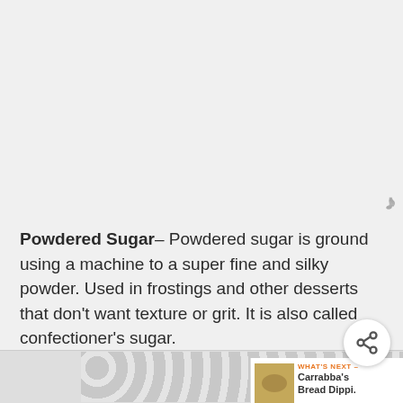[Figure (other): Top image area (cropped, partially visible above fold)]
Powdered Sugar– Powdered sugar is ground using a machine to a super fine and silky powder. Used in frostings and other desserts that don't want texture or grit. It is also called confectioner's sugar.
Turbinado Sugar– Turbinado sugar comes from the first pressing of raw sugar cane, extracting some of the juice. This is why it really isn't raw, but minimally processed. It retains some of the original molasses from the sugarcane and has a subtle caramel-like unique
[Figure (other): Share button overlay (circular white button with share icon)]
[Figure (other): What's Next promotional thumbnail - Carrabba's Bread Dippi.]
[Figure (other): Bottom advertisement banner with circular pattern]